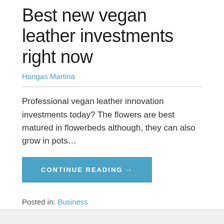Best new vegan leather investments right now
Hangas Martina
Professional vegan leather innovation investments today? The flowers are best matured in flowerbeds although, they can also grow in pots…
CONTINUE READING →
Posted in: Business